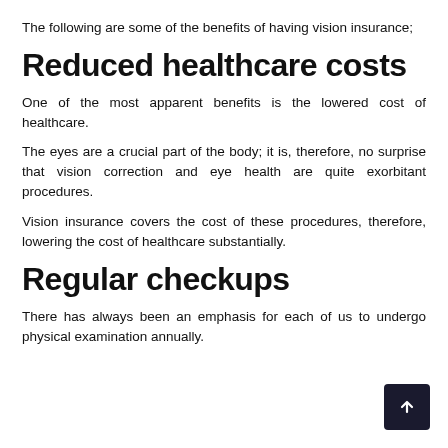The following are some of the benefits of having vision insurance;
Reduced healthcare costs
One of the most apparent benefits is the lowered cost of healthcare.
The eyes are a crucial part of the body; it is, therefore, no surprise that vision correction and eye health are quite exorbitant procedures.
Vision insurance covers the cost of these procedures, therefore, lowering the cost of healthcare substantially.
Regular checkups
There has always been an emphasis for each of us to undergo physical examination annually.